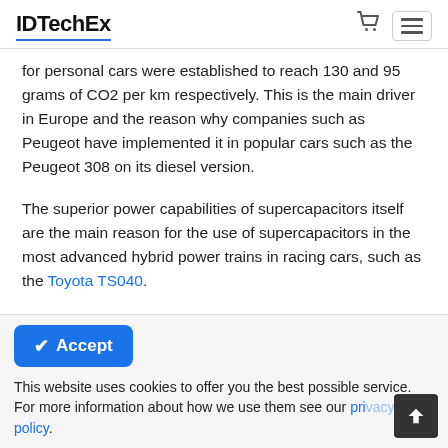IDTechEx
for personal cars were established to reach 130 and 95 grams of CO2 per km respectively. This is the main driver in Europe and the reason why companies such as Peugeot have implemented it in popular cars such as the Peugeot 308 on its diesel version.
The superior power capabilities of supercapacitors itself are the main reason for the use of supercapacitors in the most advanced hybrid power trains in racing cars, such as the Toyota TS040.
On the other hand, supercapacitors in the electronics sector need to be smaller and thinner to fit specific space constraints. One main use is to deliver the
Accept
This website uses cookies to offer you the best possible service. For more information about how we use them see our privacy policy.